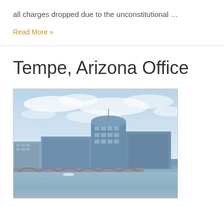all charges dropped due to the unconstitutional …
Read More »
Tempe, Arizona Office
[Figure (photo): Photograph of Tempe, Arizona cityscape showing modern glass office buildings and a bridge over a river/lake with blue sky and clouds in the background.]